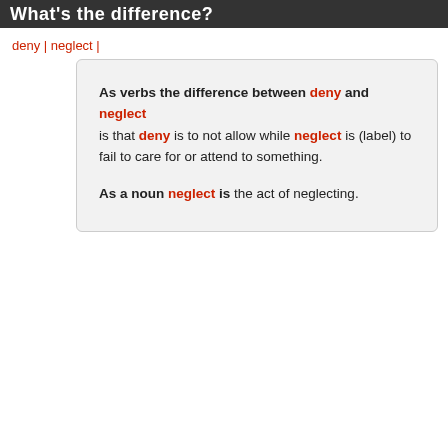What's the difference?
deny | neglect |
As verbs the difference between deny and neglect is that deny is to not allow while neglect is (label) to fail to care for or attend to something.

As a noun neglect is the act of neglecting.